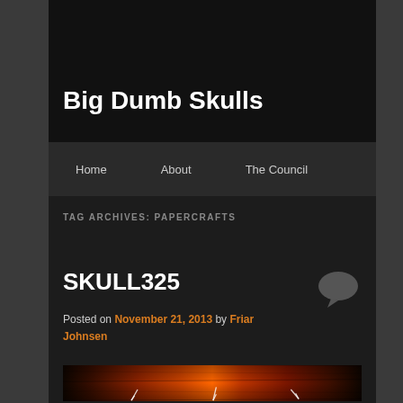Big Dumb Skulls
Home   About   The Council
TAG ARCHIVES: PAPERCRAFTS
SKULL325
Posted on November 21, 2013 by Friar Johnsen
[Figure (photo): A dark reddish-orange image showing what appears to be a fiery or woody textured background with some white arrow-like marks visible]